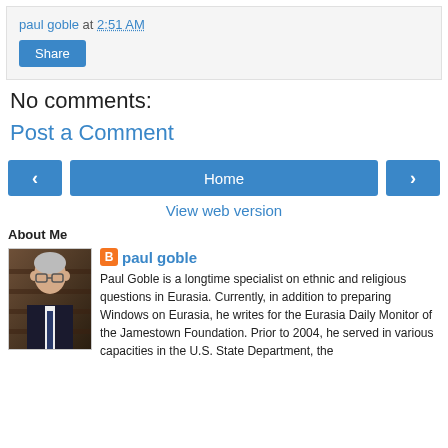paul goble at 2:51 AM
Share
No comments:
Post a Comment
‹ Home ›
View web version
About Me
[Figure (photo): Portrait photo of Paul Goble, an older man with glasses wearing a dark suit and tie, standing in front of bookshelves]
paul goble
Paul Goble is a longtime specialist on ethnic and religious questions in Eurasia. Currently, in addition to preparing Windows on Eurasia, he writes for the Eurasia Daily Monitor of the Jamestown Foundation. Prior to 2004, he served in various capacities in the U.S. State Department, the